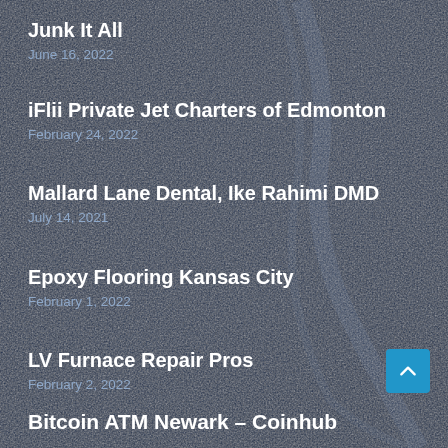Junk It All
June 16, 2022
iFlii Private Jet Charters of Edmonton
February 24, 2022
Mallard Lane Dental, Ike Rahimi DMD
July 14, 2021
Epoxy Flooring Kansas City
February 1, 2022
LV Furnace Repair Pros
February 2, 2022
Bitcoin ATM Newark – Coinhub